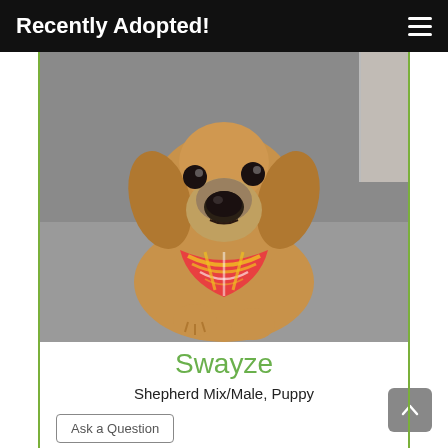Recently Adopted!
[Figure (photo): Close-up photo of a puppy (Shepherd Mix) wearing a colorful plaid bandana, looking up at the camera. The puppy has tan/brown fur with floppy ears.]
Swayze
Shepherd Mix/Male, Puppy